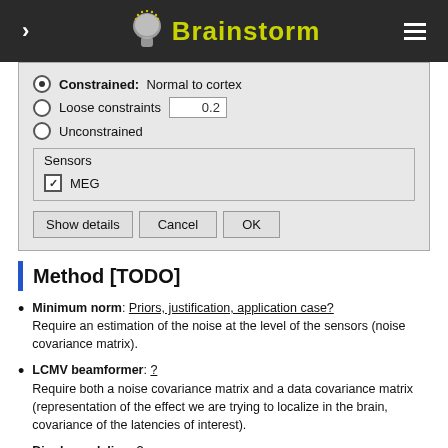Brainstorm
[Figure (screenshot): Dialog box with radio buttons: Constrained Normal to cortex (selected), Loose constraints 0.2, Unconstrained. Sensors group with MEG checkbox checked. Buttons: Show details, Cancel, OK.]
Method [TODO]
Minimum norm: Priors, justification, application case? Require an estimation of the noise at the level of the sensors (noise covariance matrix).
LCMV beamformer: ? Require both a noise covariance matrix and a data covariance matrix (representation of the effect we are trying to localize in the brain, covariance of the latencies of interest).
Dipole modeling: ? Warning: This is not a imaging method!